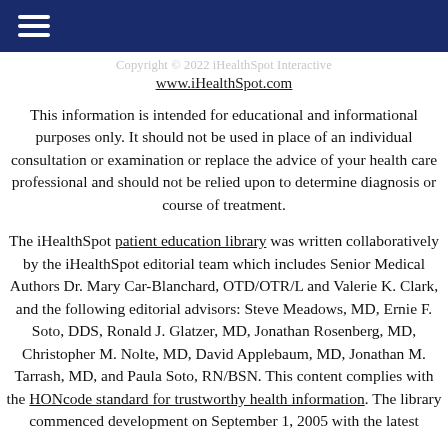Copyright © 2022 iHealthSpot Interactive www.iHealthSpot.com
This information is intended for educational and informational purposes only. It should not be used in place of an individual consultation or examination or replace the advice of your health care professional and should not be relied upon to determine diagnosis or course of treatment.
The iHealthSpot patient education library was written collaboratively by the iHealthSpot editorial team which includes Senior Medical Authors Dr. Mary Car-Blanchard, OTD/OTR/L and Valerie K. Clark, and the following editorial advisors: Steve Meadows, MD, Ernie F. Soto, DDS, Ronald J. Glatzer, MD, Jonathan Rosenberg, MD, Christopher M. Nolte, MD, David Applebaum, MD, Jonathan M. Tarrash, MD, and Paula Soto, RN/BSN. This content complies with the HONcode standard for trustworthy health information. The library commenced development on September 1, 2005 with the latest